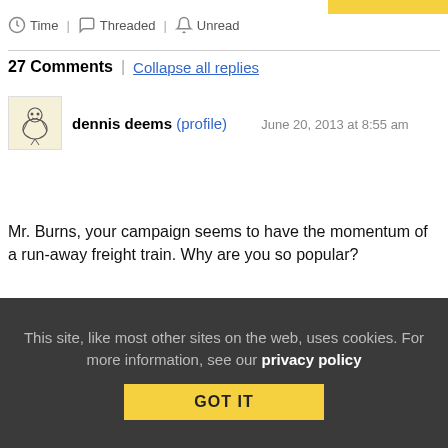Time | Threaded | Unread
27 Comments | Collapse all replies
dennis deems (profile)  June 20, 2013 at 8:55 am
Mr. Burns, your campaign seems to have the momentum of a run-away freight train. Why are you so popular?
Collapse replies (1) | Reply | View in chronology
This site, like most other sites on the web, uses cookies. For more information, see our privacy policy  GOT IT